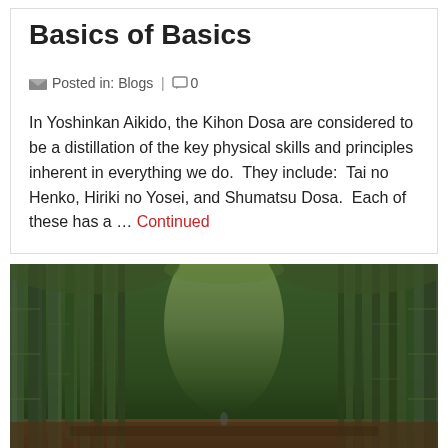Basics of Basics
Posted in: Blogs | 0
In Yoshinkan Aikido, the Kihon Dosa are considered to be a distillation of the key physical skills and principles inherent in everything we do.  They include:  Tai no Henko, Hiriki no Yosei, and Shumatsu Dosa.  Each of these has a … Continued
[Figure (photo): A bamboo forest with tall green bamboo stalks lining a path, with light filtering through from above and brown leaf litter on the ground.]